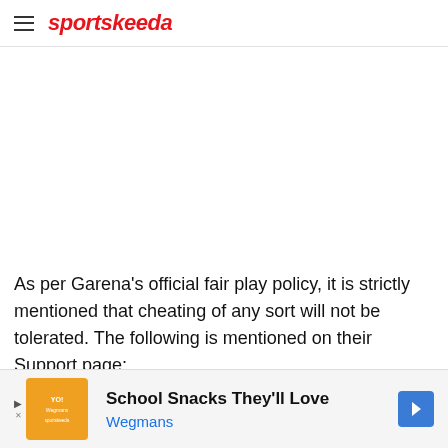sportskeeda
As per Garena's official fair play policy, it is strictly mentioned that cheating of any sort will not be tolerated. The following is mentioned on their Support page:
[Figure (other): Advertisement banner for Wegmans: School Snacks They'll Love]